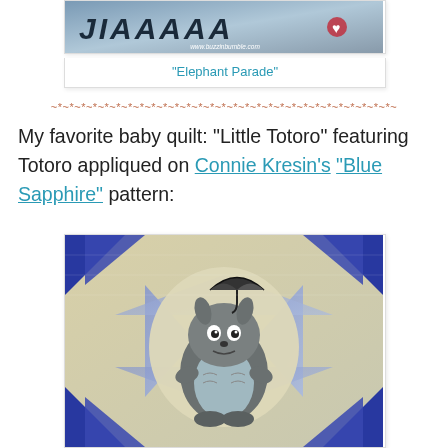[Figure (photo): Photo of an 'Elephant Parade' quilt or craft project with logo text and watermark www.buzzinbumble.com]
"Elephant Parade"
~*~*~*~*~*~*~*~*~*~*~*~*~*~*~*~*~*~*~*~*~*~*~*~
My favorite baby quilt: "Little Totoro" featuring Totoro appliqued on Connie Kresin's "Blue Sapphire" pattern:
[Figure (photo): Photo of a baby quilt called 'Little Totoro' featuring a Totoro character appliqued on Connie Kresin's 'Blue Sapphire' pattern, with blue and purple star/diamond pieced background and Totoro holding an umbrella in the center.]